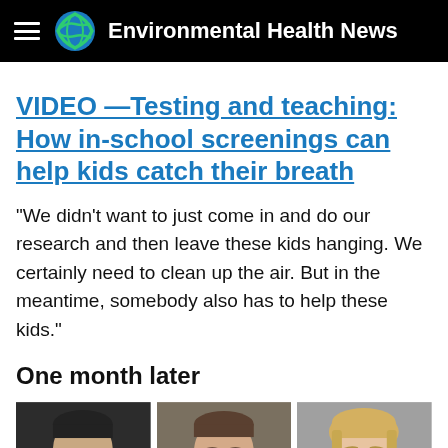Environmental Health News
VIDEO —Testing and teaching: How in-school screenings can help kids catch their breath
"We didn't want to just come in and do our research and then leave these kids hanging. We certainly need to clean up the air. But in the meantime, somebody also has to help these kids."
One month later
[Figure (photo): Three headshot photos of people side by side: a man with glasses on the left, a man without glasses in the center, and a woman with blonde hair on the right.]